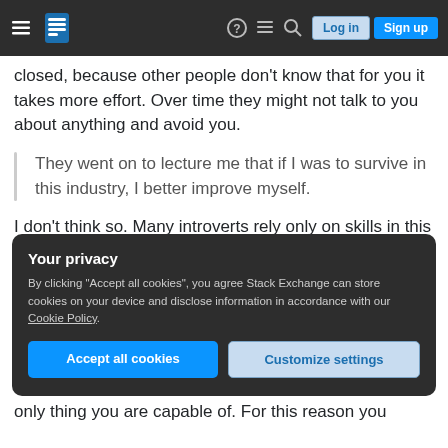Stack Exchange navigation bar with hamburger menu, logo, help, chat, search icons, Log in and Sign up buttons
closed, because other people don't know that for you it takes more effort. Over time they might not talk to you about anything and avoid you.
They went on to lecture me that if I was to survive in this industry, I better improve myself.
I don't think so. Many introverts rely only on skills in this industry and they survive. It isn't optimal though.
Your privacy
By clicking "Accept all cookies", you agree Stack Exchange can store cookies on your device and disclose information in accordance with our Cookie Policy.
Accept all cookies   Customize settings
only thing you are capable of. For this reason you